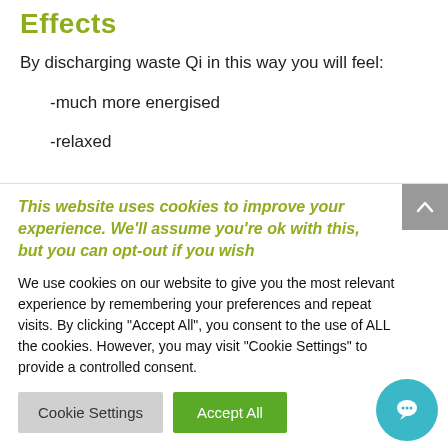Effects
By discharging waste Qi in this way you will feel:
-much more energised
-relaxed
This website uses cookies to improve your experience. We'll assume you're ok with this, but you can opt-out if you wish
We use cookies on our website to give you the most relevant experience by remembering your preferences and repeat visits. By clicking "Accept All", you consent to the use of ALL the cookies. However, you may visit "Cookie Settings" to provide a controlled consent.